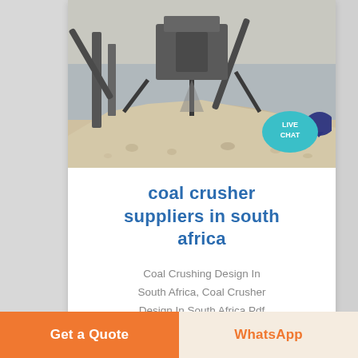[Figure (photo): Coal crusher / stone crushing machinery at a quarry site with large pile of crushed aggregate material, industrial conveyor belts and machinery visible]
coal crusher suppliers in south africa
Coal Crushing Design In South Africa, Coal Crusher Design In South Africa Pdf
Accessory equipment
Stone crusher for sale
Grinding mill Shanghai